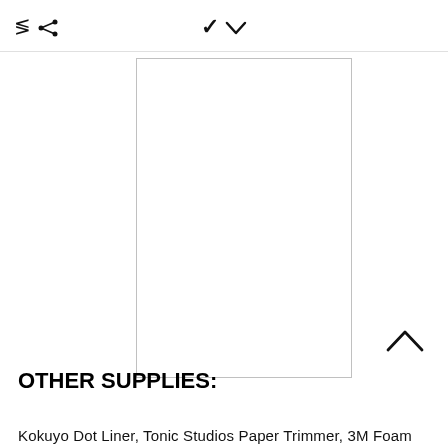< ✓
[Figure (other): White blank rectangular image area with border, centered in the upper portion of the page]
OTHER SUPPLIES:
Kokuyo Dot Liner, Tonic Studios Paper Trimmer, 3M Foam